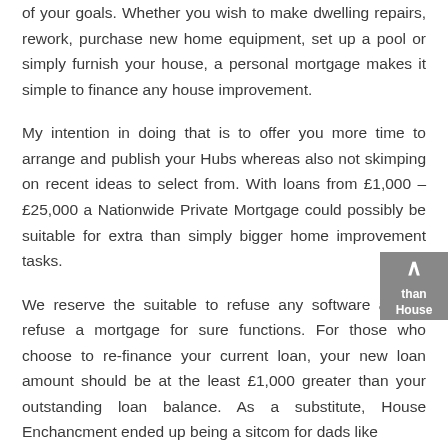of your goals. Whether you wish to make dwelling repairs, rework, purchase new home equipment, set up a pool or simply furnish your house, a personal mortgage makes it simple to finance any house improvement.
My intention in doing that is to offer you more time to arrange and publish your Hubs whereas also not skimping on recent ideas to select from. With loans from £1,000 – £25,000 a Nationwide Private Mortgage could possibly be suitable for extra than simply bigger home improvement tasks.
We reserve the suitable to refuse any software and to refuse a mortgage for sure functions. For those who choose to re-finance your current loan, your new loan amount should be at the least £1,000 greater than your outstanding loan balance. As a substitute, House Enchancment ended up being a sitcom for dads like